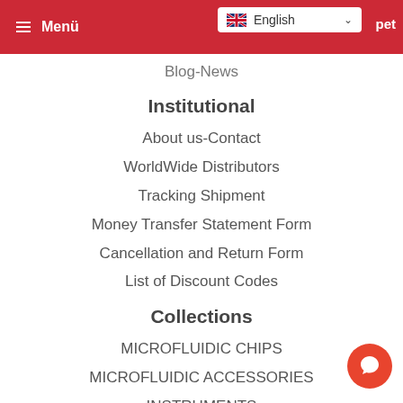≡ Menü | English | pet
Blog-News
Institutional
About us-Contact
WorldWide Distributors
Tracking Shipment
Money Transfer Statement Form
Cancellation and Return Form
List of Discount Codes
Collections
MICROFLUIDIC CHIPS
MICROFLUIDIC ACCESSORIES
INSTRUMENTS
BIOMATERIALS
BY APPLICATION